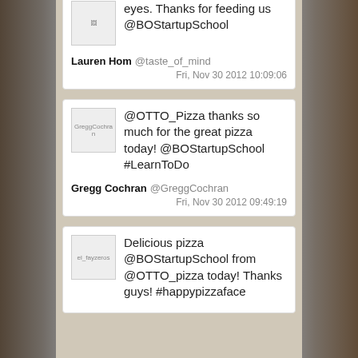eyes. Thanks for feeding us @BOStartupSchool
Lauren Hom @taste_of_mind
Fri, Nov 30 2012 10:09:06
@OTTO_Pizza thanks so much for the great pizza today! @BOStartupSchool #LearnToDo
Gregg Cochran @GreggCochran
Fri, Nov 30 2012 09:49:19
Delicious pizza @BOStartupSchool from @OTTO_pizza today! Thanks guys! #happypizzaface